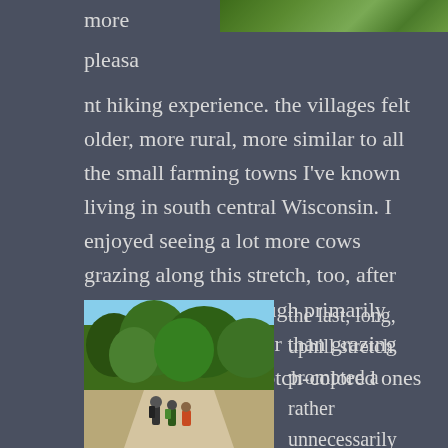[Figure (photo): Top banner photo showing green foliage and trees, partially cropped]
more

pleasa

nt hiking experience. the villages felt older, more rural, more similar to all the small farming towns I've known living in south central Wisconsin. I enjoyed seeing a lot more cows grazing along this stretch, too, after weeks of hiking through primarily cultivated fields rather than grazing fields. these butterscotch-colored ones were my favorite.
[Figure (photo): Hikers walking up a dirt road/path with green trees and blue sky in background]
the last, long, uphill stretch prompted a rather unnecessarily self-imposed challenge; just as we began